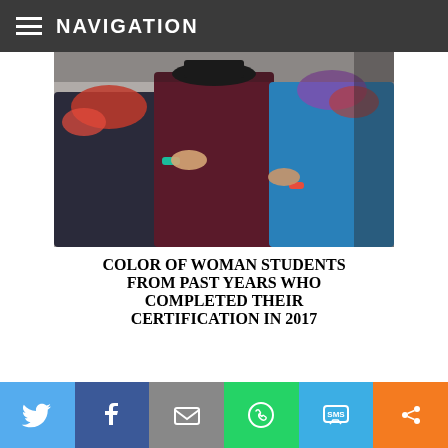NAVIGATION
[Figure (photo): Group of women standing close together outdoors, wearing colorful scarves and festive attire; photo is cropped to show torsos and partial faces]
COLOR OF WOMAN STUDENTS FROM PAST YEARS WHO COMPLETED THEIR CERTIFICATION IN 2017
Bella Stolz
Caryn McLaine
Christine McDevitt